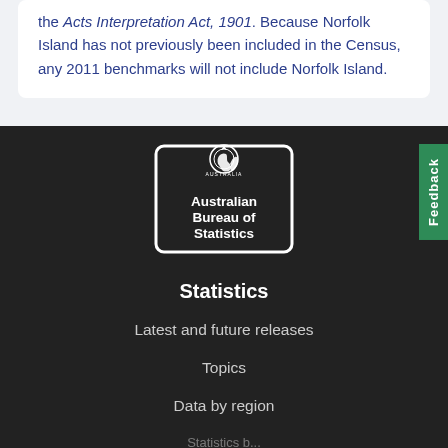the Acts Interpretation Act, 1901. Because Norfolk Island has not previously been included in the Census, any 2011 benchmarks will not include Norfolk Island.
[Figure (logo): Australian Bureau of Statistics official logo — white rectangular badge with coat of arms and text 'Australian Bureau of Statistics' on dark background]
Statistics
Latest and future releases
Topics
Data by region
Statistics by ...